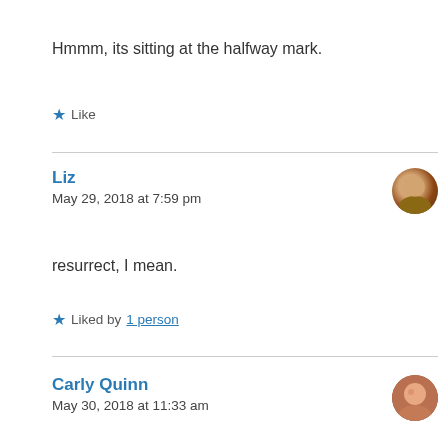Hmmm, its sitting at the halfway mark.
★ Like
Liz
May 29, 2018 at 7:59 pm
resurrect, I mean.
★ Liked by 1 person
Carly Quinn
May 30, 2018 at 11:33 am